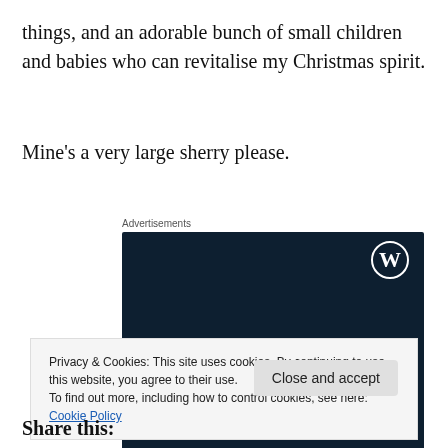things, and an adorable bunch of small children and babies who can revitalise my Christmas spirit.
Mine's a very large sherry please.
Advertisements
[Figure (other): WordPress advertisement banner with dark navy background, WordPress logo icon top right, text 'Opinions. We all have them!']
Privacy & Cookies: This site uses cookies. By continuing to use this website, you agree to their use.
To find out more, including how to control cookies, see here: Cookie Policy
Share this: